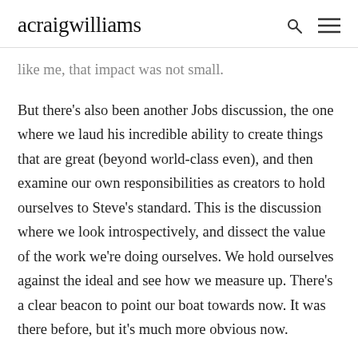acraigwilliams
like me, that impact was not small.
But there's also been another Jobs discussion, the one where we laud his incredible ability to create things that are great (beyond world-class even), and then examine our own responsibilities as creators to hold ourselves to Steve's standard. This is the discussion where we look introspectively, and dissect the value of the work we're doing ourselves. We hold ourselves against the ideal and see how we measure up. There's a clear beacon to point our boat towards now. It was there before, but it's much more obvious now.